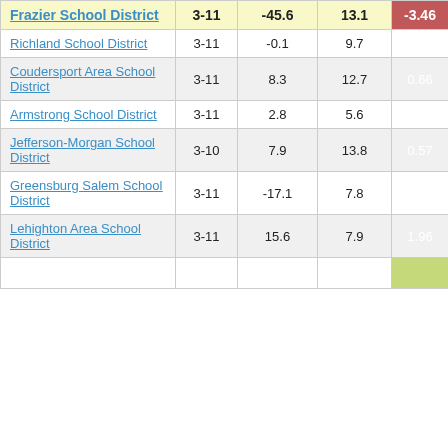| District | Grades | Col3 | Col4 | Score |
| --- | --- | --- | --- | --- |
| Frazier School District | 3-11 | -45.6 | 13.1 | -3.46 |
| Richland School District | 3-11 | -0.1 | 9.7 | -0.01 |
| Coudersport Area School District | 3-11 | 8.3 | 12.7 | 0.66 |
| Armstrong School District | 3-11 | 2.8 | 5.6 | 0.50 |
| Jefferson-Morgan School District | 3-10 | 7.9 | 13.8 | 0.57 |
| Greensburg Salem School District | 3-11 | -17.1 | 7.8 | -2.20 |
| Lehighton Area School District | 3-11 | 15.6 | 7.9 | 1.96 |